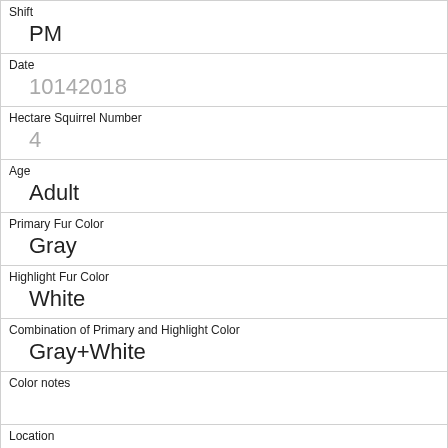| Shift | PM |
| Date | 10142018 |
| Hectare Squirrel Number | 4 |
| Age | Adult |
| Primary Fur Color | Gray |
| Highlight Fur Color | White |
| Combination of Primary and Highlight Color | Gray+White |
| Color notes |  |
| Location | Ground Plane |
| Above Ground Sighter Measurement | FALSE |
| Specific Location |  |